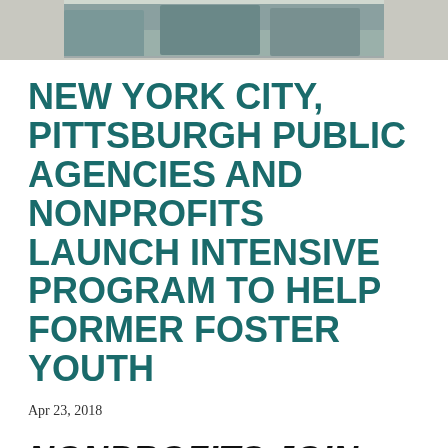[Figure (photo): Cropped photo of two people sitting on a bench outdoors in winter clothing]
NEW YORK CITY, PITTSBURGH PUBLIC AGENCIES AND NONPROFITS LAUNCH INTENSIVE PROGRAM TO HELP FORMER FOSTER YOUTH
Apr 23, 2018
NONPROFITS JOIN SEATTLE AND